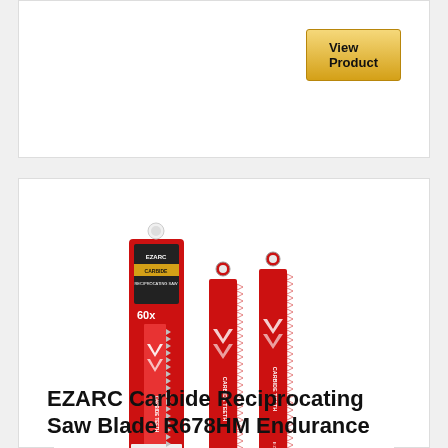[Figure (other): View Product button (gold/yellow gradient button)]
[Figure (photo): EZARC Carbide Reciprocating Saw Blade R678HM product photo showing three red saw blades with packaging]
EZARC Carbide Reciprocating Saw Blade R678HM Endurance